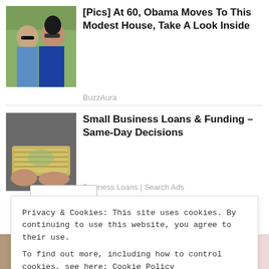[Figure (photo): Photo of two people (man and woman) outdoors with greenery background]
[Pics] At 60, Obama Moves To This Modest House, Take A Look Inside
BuzzAura
[Figure (photo): Photo of hands holding a stack of US dollar bills]
Small Business Loans & Funding – Same-Day Decisions
Business Loans | Search Ads
Privacy & Cookies: This site uses cookies. By continuing to use this website, you agree to their use.
To find out more, including how to control cookies, see here: Cookie Policy
Close and accept